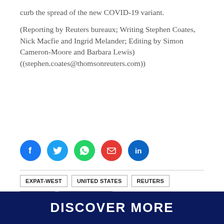curb the spread of the new COVID-19 variant.
(Reporting by Reuters bureaux; Writing Stephen Coates, Nick Macfie and Ingrid Melander; Editing by Simon Cameron-Moore and Barbara Lewis) ((stephen.coates@thomsonreuters.com))
[Figure (infographic): Social media share icons: Facebook (blue circle), Twitter (light blue circle), WhatsApp (green circle), Email (red circle), LinkedIn (blue circle)]
EXPAT-WEST
UNITED STATES
REUTERS
FRANCE
CORONAVIRUS
DISCOVER MORE